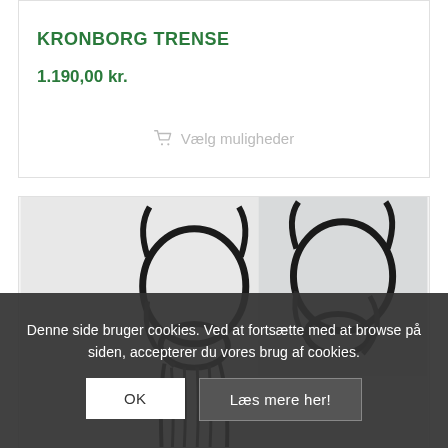KRONBORG TRENSE
1.190,00 kr.
Vælg muligheder
[Figure (photo): Product photo showing two dark leather horse bridles (trense) against a light background]
Denne side bruger cookies. Ved at fortsætte med at browse på siden, accepterer du vores brug af cookies.
OK
Læs mere her!